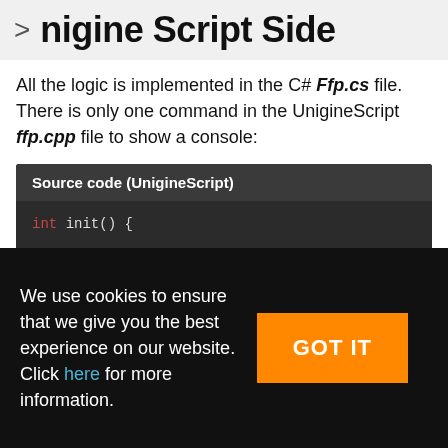nigine Script Side
All the logic is implemented in the C# Ffp.cs file. There is only one command in the UnigineScript ffp.cpp file to show a console:
[Figure (screenshot): Source code (UnigineScript) block showing: int init() { // show console]
We use cookies to ensure that we give you the best experience on our website. Click here for more information.